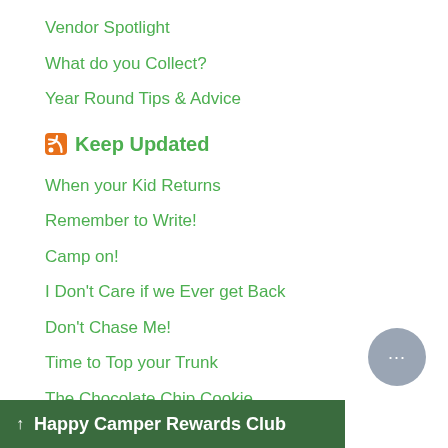Vendor Spotlight
What do you Collect?
Year Round Tips & Advice
Keep Updated
When your Kid Returns
Remember to Write!
Camp on!
I Don't Care if we Ever get Back
Don't Chase Me!
Time to Top your Trunk
The Chocolate Chip Cookie
So, Moso...
Double Berry Celebration
Paperback Book Day
Happy Camper Rewards Club